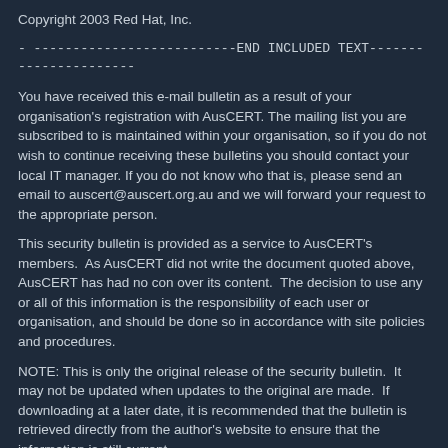Copyright 2003 Red Hat, Inc.
- --------------------------END INCLUDED TEXT----------------------
You have received this e-mail bulletin as a result of your organisation's registration with AusCERT. The mailing list you are subscribed to is maintained within your organisation, so if you do not wish to continue receiving these bulletins you should contact your local IT manager. If you do not know who that is, please send an email to auscert@auscert.org.au and we will forward your request to the appropriate person.
This security bulletin is provided as a service to AusCERT's members.  As AusCERT did not write the document quoted above, AusCERT has had no con over its content.  The decision to use any or all of this information is the responsibility of each user or organisation, and should be done so in accordance with site policies and procedures.
NOTE: This is only the original release of the security bulletin.  It may not be updated when updates to the original are made.  If downloading at a later date, it is recommended that the bulletin is retrieved directly from the author's website to ensure that the information is still current.
Contact information for the authors of the original document is included in the Security Bulletin above.  If you have any questions or need further information, please contact them directly.
Previous advisories and external security bulletins can be retrieved from:
http://www.auscert.org.au/render.html?cid=1980
If you believe that your system has been compromised, contact AusCERT or your representative in FIRST (Forum of Incident Response and Security